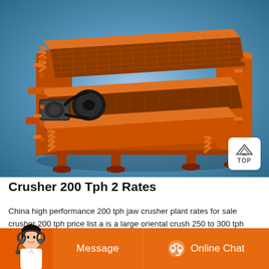[Figure (photo): Orange industrial vibrating screen/sieve machine with mesh decks, coil springs, motor with pulley drive, and support legs, photographed on a blue gradient background. A white rounded square badge with a house/top icon and 'TOP' text appears in the bottom-right corner of the image.]
Crusher 200 Tph 2 Rates
China high performance 200 tph jaw crusher plant rates for sale crusher 200 tph price list a is a large oriental crush 250 to 300 tph crushers and m as get price and support online used machinery stone crusher 300
[Figure (illustration): Bottom navigation bar: left side shows a female customer service avatar (person with headset), center button says 'Message' on orange background, right button shows headset chat icon and says 'Online Chat' on orange background.]